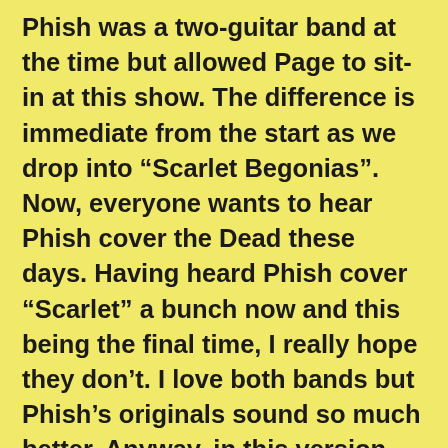Phish was a two-guitar band at the time but allowed Page to sit-in at this show. The difference is immediate from the start as we drop into “Scarlet Begonias”. Now, everyone wants to hear Phish cover the Dead these days. Having heard Phish cover “Scarlet” a bunch now and this being the final time, I really hope they don’t. I love both bands but Phish’s originals sound so much better. Anyway, in this version, Page’s keys really round out the version and add a layer of depth missing earlier. He’s a much more complimentary player to Trey than Jeff. The band has also been working on segues and the segue into “Eyes of the World” is perfect. It’s very ambient but it drops in nicely. It would not feel out of place at a show today in fact. This “Eyes” is definitely the best by the band